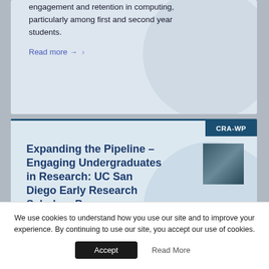engagement and retention in computing, particularly among first and second year students.
Read more →
CRA-WP
Expanding the Pipeline – Engaging Undergraduates in Research: UC San Diego Early Research Scholars Program
[Figure (photo): Small thumbnail photo of a person, likely a student or researcher]
We use cookies to understand how you use our site and to improve your experience. By continuing to use our site, you accept our use of cookies.
Accept  Read More